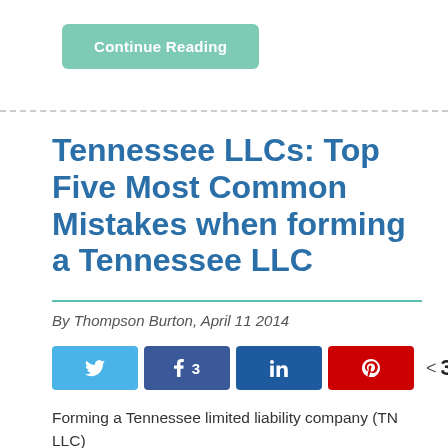[Figure (other): Green rounded button labeled 'Continue Reading']
Tennessee LLCs: Top Five Most Common Mistakes when forming a Tennessee LLC
By Thompson Burton, April 11 2014
[Figure (other): Social share buttons: Twitter, Facebook (3), LinkedIn, Pinterest, and share count showing 3 SHARES]
Forming a Tennessee limited liability company (TN LLC)